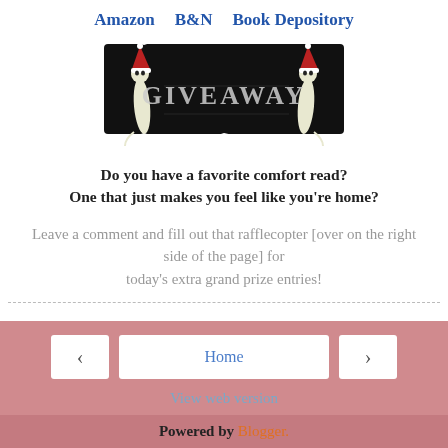Amazon   B&N   Book Depository
[Figure (illustration): Black banner with two stylized white cats wearing red Santa hats on either side, and the word GIVEAWAY in distressed/grunge font in the center]
Do you have a favorite comfort read? One that just makes you feel like you're home?
Leave a comment and fill out that rafflecopter [over on the right side of the page] for today's extra grand prize entries!
Home | View web version | Powered by Blogger.